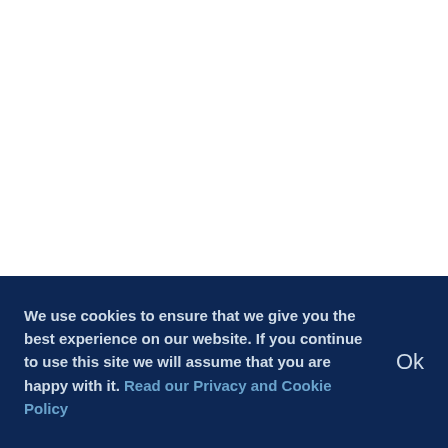We use cookies to ensure that we give you the best experience on our website. If you continue to use this site we will assume that you are happy with it. Read our Privacy and Cookie Policy
Ok